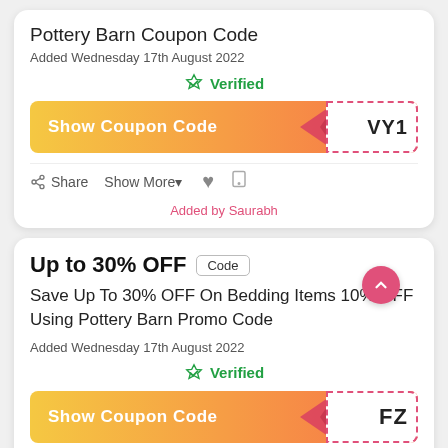Pottery Barn Coupon Code
Added Wednesday 17th August 2022
Verified
[Figure (other): Show Coupon Code button with gradient background and coupon code ending in VY1 in dashed box]
Share  Show More▾  ♥  ▣
Added by Saurabh
Up to 30% OFF
Code
Save Up To 30% OFF On Bedding Items 10% OFF Using Pottery Barn Promo Code
Added Wednesday 17th August 2022
Verified
[Figure (other): Show Coupon Code button with gradient background and coupon code ending in FZ in dashed box]